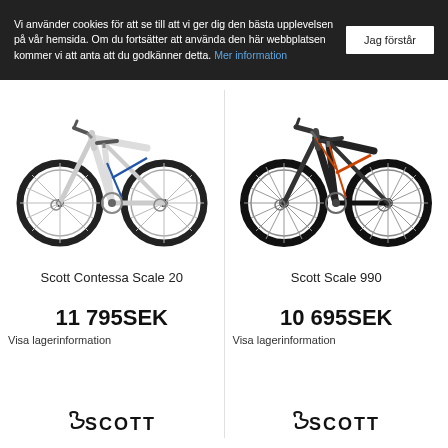Vi använder cookies för att se till att vi ger dig den bästa upplevelsen på vår hemsida. Om du fortsätter att använda den här webbplatsen kommer vi att anta att du godkänner detta. Mer information
Jag förstår
[Figure (photo): White mountain bike - Scott Contessa Scale 20]
Scott Contessa Scale 20
11 795SEK
Visa lagerinformation
[Figure (logo): Scott logo below left product]
[Figure (photo): Black/red mountain bike - Scott Scale 990]
Scott Scale 990
10 695SEK
Visa lagerinformation
[Figure (logo): Scott logo below right product]